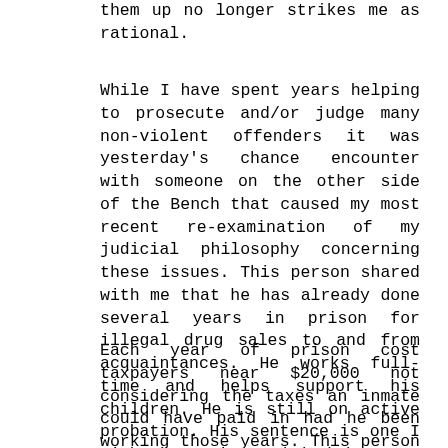them up no longer strikes me as rational.
While I have spent years helping to prosecute and/or judge many non-violent offenders it was yesterday's chance encounter with someone on the other side of the Bench that caused my most recent re-examination of my judicial philosophy concerning these issues. This person shared with me that he has already done several years in prison for illegal drug sales to and from acquaintances. He works full-time and helps support his children. He is still on active probation. His sentence is one I might have imposed had he come before me.
Each year of prison cost taxpayers near $20,000 not considering the taxes an inmate could have paid in had he been working those years. This person I was talking with is a skillful and willing workman. Of course, many drug users often have